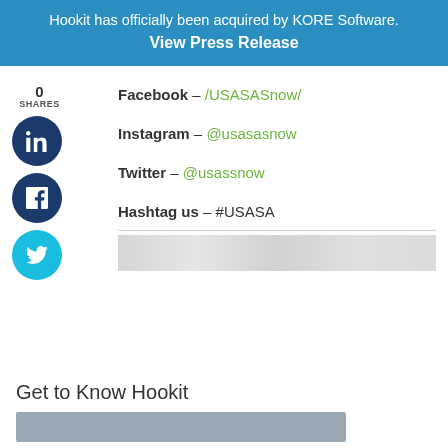Hookit has officially been acquired by KORE Software. View Press Release
Facebook – /USASASnow/
Instagram – @usasasnow
Twitter – @usassnow
Hashtag us – #USASA
Get to Know Hookit